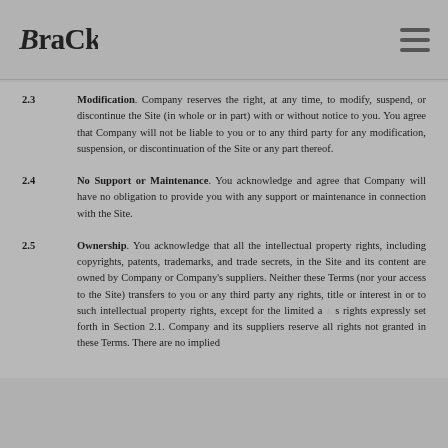BRACKO logo and navigation menu
2.3 Modification. Company reserves the right, at any time, to modify, suspend, or discontinue the Site (in whole or in part) with or without notice to you. You agree that Company will not be liable to you or to any third party for any modification, suspension, or discontinuation of the Site or any part thereof.
2.4 No Support or Maintenance. You acknowledge and agree that Company will have no obligation to provide you with any support or maintenance in connection with the Site.
2.5 Ownership. You acknowledge that all the intellectual property rights, including copyrights, patents, trademarks, and trade secrets, in the Site and its content are owned by Company or Company's suppliers. Neither these Terms (nor your access to the Site) transfers to you or any third party any rights, title or interest in or to such intellectual property rights, except for the limited access rights expressly set forth in Section 2.1. Company and its suppliers reserve all rights not granted in these Terms. There are no implied